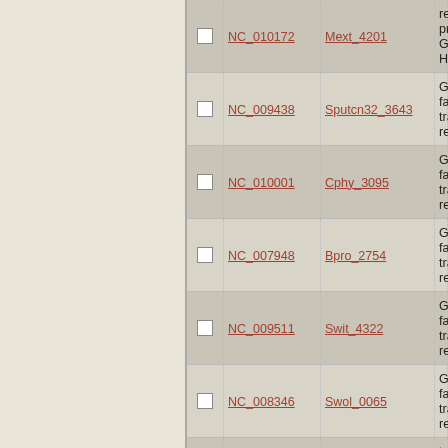|  | NC ID | Gene | Description |
| --- | --- | --- | --- |
| ☐ | NC_010172 | Mext_4201 | regulatory protein G HTH |
| ☐ | NC_009438 | Sputcn32_3643 | GntR family transcriptional regulator |
| ☐ | NC_010001 | Cphy_3095 | GntR family transcriptional regulator |
| ☐ | NC_007948 | Bpro_2754 | GntR family transcriptional regulator |
| ☐ | NC_009511 | Swit_4322 | GntR family transcriptional regulator |
| ☐ | NC_008346 | Swol_0065 | GntR family transcriptional regulator |
| ☐ | NC_011369 | Rleg2_0572 | transcriptional regulator GntR family |
| ☐ | NC_011666 | Msil_3196 | transcriptional regulator GntR family |
| ☐ |  |  | GntR family |